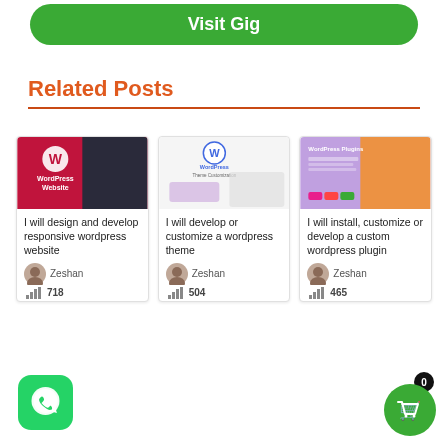Visit Gig
Related Posts
[Figure (screenshot): Card 1: WordPress Website thumbnail image]
I will design and develop responsive wordpress website
Zeshan
718
[Figure (screenshot): Card 2: WordPress Theme Customization thumbnail image]
I will develop or customize a wordpress theme
Zeshan
504
[Figure (screenshot): Card 3: WordPress Plugins thumbnail image]
I will install, customize or develop a custom wordpress plugin
Zeshan
465